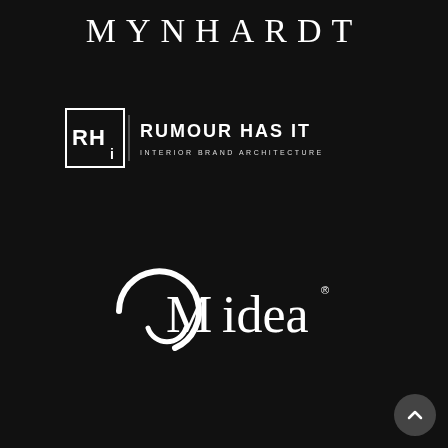[Figure (logo): MYNHARDT brand logo in white serif uppercase letters on dark background]
[Figure (logo): RHi - Rumour Has It Interior Brand Architecture logo with geometric box icon and white text on dark background]
[Figure (logo): Midea brand logo in white with circular arc icon on dark background]
[Figure (other): Scroll-to-top circular button with upward chevron in bottom-right corner]